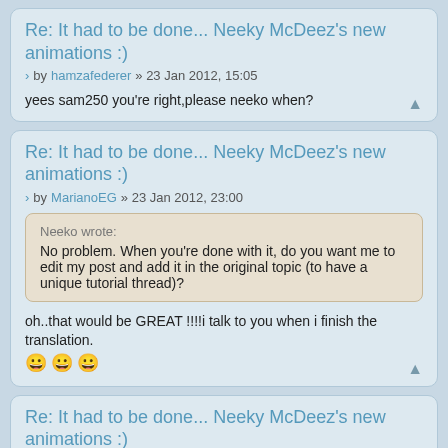Re: It had to be done... Neeky McDeez's new animations :)
by hamzafederer » 23 Jan 2012, 15:05
yees sam250 you're right,please neeko when?
Re: It had to be done... Neeky McDeez's new animations :)
by MarianoEG » 23 Jan 2012, 23:00
Neeko wrote:
No problem. When you're done with it, do you want me to edit my post and add it in the original topic (to have a unique tutorial thread)?
oh..that would be GREAT !!!!i talk to you when i finish the translation. 😀 😀 😀
Re: It had to be done... Neeky McDeez's new animations :)
by MarianoEG » 23 Jan 2012, 23:04